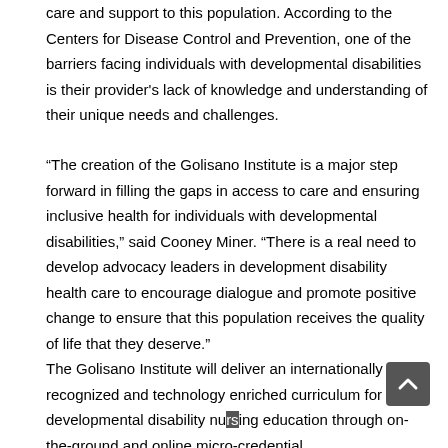care and support to this population. According to the Centers for Disease Control and Prevention, one of the barriers facing individuals with developmental disabilities is their provider's lack of knowledge and understanding of their unique needs and challenges.
“The creation of the Golisano Institute is a major step forward in filling the gaps in access to care and ensuring inclusive health for individuals with developmental disabilities,” said Cooney Miner. “There is a real need to develop advocacy leaders in development disability health care to encourage dialogue and promote positive change to ensure that this population receives the quality of life that they deserve.”
The Golisano Institute will deliver an internationally recognized and technology enriched curriculum for developmental disability nursing education through on-the-ground and online micro-credential